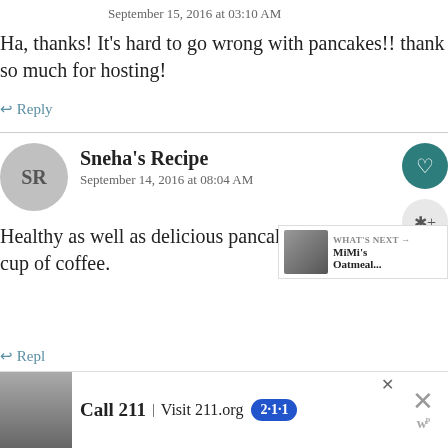September 15, 2016 at 03:10 AM
Ha, thanks! It's hard to go wrong with pancakes!! thank so much for hosting!
↩ Reply
Sneha's Recipe
September 14, 2016 at 08:04 AM
Healthy as well as delicious pancakes, perfect with a cup of coffee.
[Figure (infographic): What's Next panel with image and text: MiMi's Oatmeal...]
↩ Reply
[Figure (infographic): Advertisement banner: Call 211 | Visit 211.org 2-1-1]